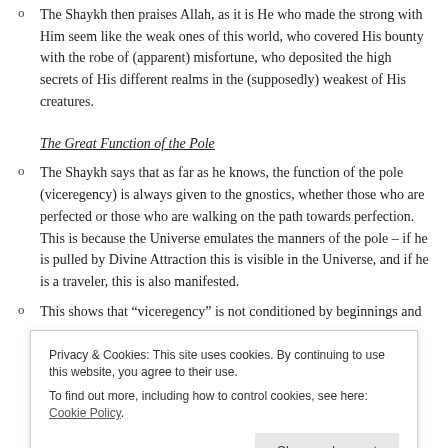The Shaykh then praises Allah, as it is He who made the strong with Him seem like the weak ones of this world, who covered His bounty with the robe of (apparent) misfortune, who deposited the high secrets of His different realms in the (supposedly) weakest of His creatures.
The Great Function of the Pole
The Shaykh says that as far as he knows, the function of the pole (viceregency) is always given to the gnostics, whether those who are perfected or those who are walking on the path towards perfection. This is because the Universe emulates the manners of the pole – if he is pulled by Divine Attraction this is visible in the Universe, and if he is a traveler, this is also manifested.
This shows that “viceregency” is not conditioned by beginnings and one or both. However, it is not given to a completely absent person